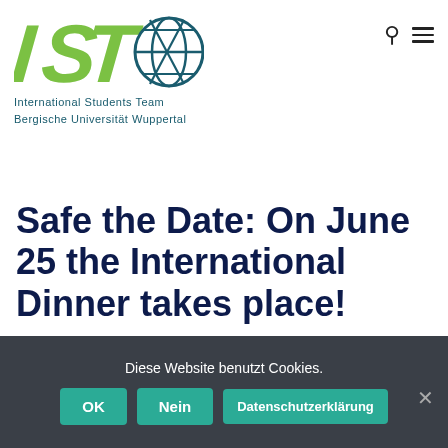[Figure (logo): IST logo with green brush-style letters and globe graphic, with text International Students Team, Bergische Universität Wuppertal]
Safe the Date: On June 25 the International Dinner takes place!
Diese Website benutzt Cookies.